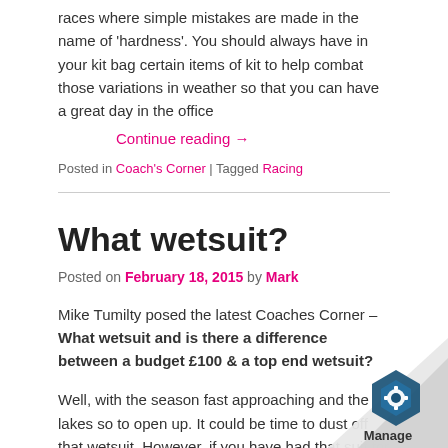races where simple mistakes are made in the name of 'hardness'. You should always have in your kit bag certain items of kit to help combat those variations in weather so that you can have a great day in the office
Continue reading →
Posted in Coach's Corner | Tagged Racing
What wetsuit?
Posted on February 18, 2015 by Mark
Mike Tumilty posed the latest Coaches Corner – What wetsuit and is there a difference between a budget £100 & a top end wetsuit?
Well, with the season fast approaching and the lakes so to open up. It could be time to dust off that wetsuit. However, if you have had that suit for years & years & got more holes than a string vest, it could be time to
[Figure (logo): Manage badge overlay in bottom right corner]